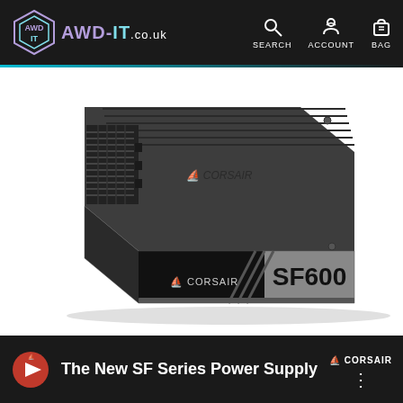AWD-IT.co.uk header with SEARCH, ACCOUNT, BAG navigation icons
[Figure (photo): Corsair SF600 SFX power supply unit, black metal box with ribbed top, ventilation grill on left side, 'SF600' and 'CORSAIR' branding on front panel]
[Figure (screenshot): Video banner showing Corsair logo and text 'The New SF Series Power Supply' with three-dot menu icon, Corsair branding in top right]